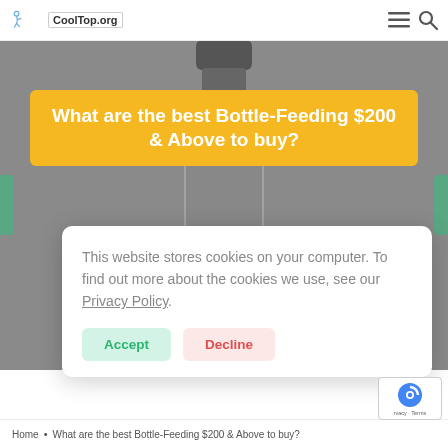CoolTop.org — navigation bar with logo, menu and search icons
[Figure (screenshot): Website screenshot showing a product bottle on a grey background hero image with a yellow title banner reading 'What are the best Bottle-Feeding $200 & Above to buy?' and a cookie consent dialog overlay]
What are the best Bottle-Feeding $200 & Above to buy?
This website stores cookies on your computer. To find out more about the cookies we use, see our Privacy Policy.
Accept | Decline
Home • What are the best Bottle-Feeding $200 & Above to buy?